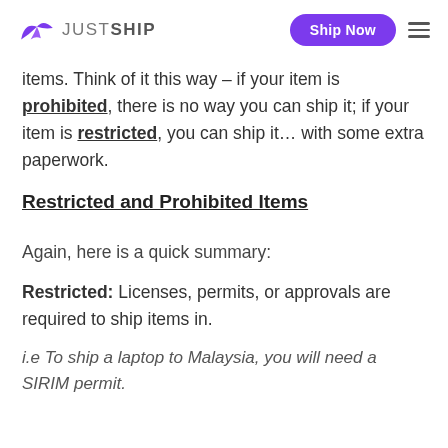JUSTSHIP — Ship Now
items. Think of it this way – if your item is prohibited, there is no way you can ship it; if your item is restricted, you can ship it... with some extra paperwork.
Restricted and Prohibited Items
Again, here is a quick summary:
Restricted: Licenses, permits, or approvals are required to ship items in.
i.e To ship a laptop to Malaysia, you will need a SIRIM permit.